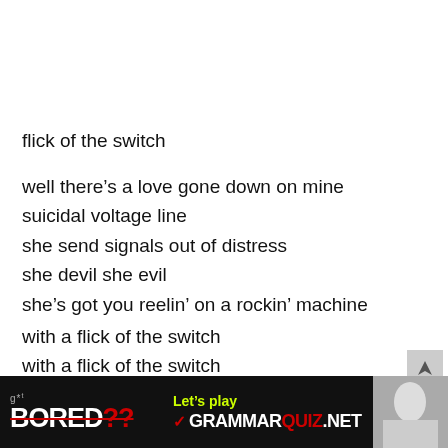flick of the switch
well there’s a love gone down on mine
suicidal voltage line
she send signals out of distress
she devil she evil
she’s got you reelin’ on a rockin’ machine
with a flick of the switch
with a flick of the switch
she’ll blow you sky high
with a flick of the switch
[Figure (screenshot): Bottom advertisement banner: black background with 'Got. BORED??' text on the left in white/red, 'Let's play' in yellow-green and 'GRAMMARQUIZ.NET' with checkmark logo in center-right, and a photo of a person on the far right.]